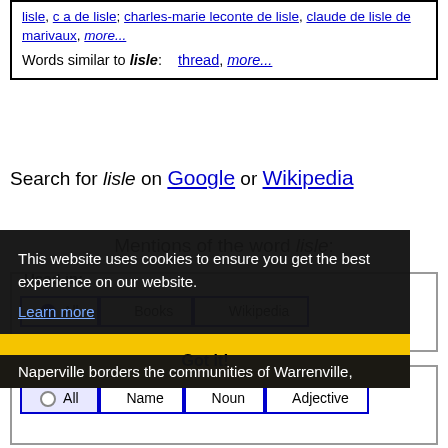lisle, c a de lisle; charles-marie leconte de lisle, claude de lisle de marivaux, more... Words similar to lisle: thread, more...
Search for lisle on Google or Wikipedia
Mentions of the word lisle:
Used in:
All | Books | Wikipedia
Used as:
All | Name | Noun | Adjective
This website uses cookies to ensure you get the best experience on our website.
Learn more
Got it!
Naperville borders the communities of Warrenville,